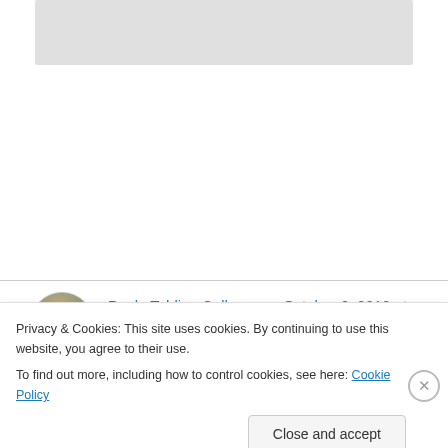[Figure (photo): Gray placeholder box at top of page]
Paula Tohline Calhoun on October 6, 2010 at 10:16 am
Ah yes, the gift that keeps on giving, and giving! Should come with a personal-sized can of room deodorizer.
Privacy & Cookies: This site uses cookies. By continuing to use this website, you agree to their use.
To find out more, including how to control cookies, see here: Cookie Policy
Close and accept